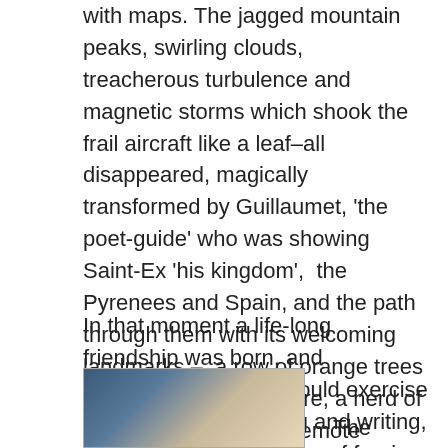with maps. The jagged mountain peaks, swirling clouds, treacherous turbulence and magnetic storms which shook the frail aircraft like a leaf–all disappeared, magically transformed by Guillaumet, 'the poet-guide' who was showing Saint-Ex 'his kingdom', the Pyrenees and Spain, and the path through them with its welcoming landmarks – a row of orange trees here, a quiet brook there, a herd of sheep, a farmer on a remote mountain top.
In that moment a life-long friendship was born, and henceforth Saint-Ex would exercise his two passions, flying and writing, in thrall to the siren song of foreign landscapes, the vast remoteness of the Saharan desert and the harsh majesty of the South American continent, in the company of a fellowship of men who also had the stars in their eyes.
[Figure (photo): Partial photo of an open book on a table, partially visible at bottom of page]
The